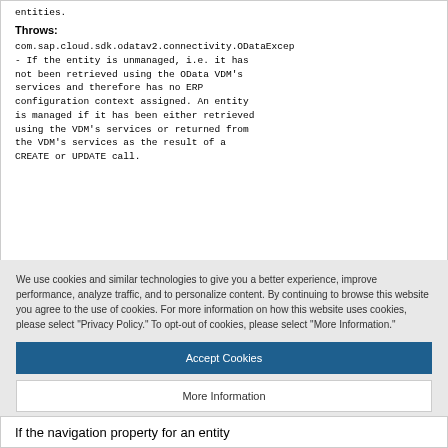entities.
Throws:
com.sap.cloud.sdk.odatav2.connectivity.ODataExcep
- If the entity is unmanaged, i.e. it has not been retrieved using the OData VDM's services and therefore has no ERP configuration context assigned. An entity is managed if it has been either retrieved using the VDM's services or returned from the VDM's services as the result of a CREATE or UPDATE call.
We use cookies and similar technologies to give you a better experience, improve performance, analyze traffic, and to personalize content. By continuing to browse this website you agree to the use of cookies. For more information on how this website uses cookies, please select "Privacy Policy." To opt-out of cookies, please select "More Information."
Accept Cookies
More Information
Privacy Policy | Powered by: TrustArc
If the navigation property for an entity